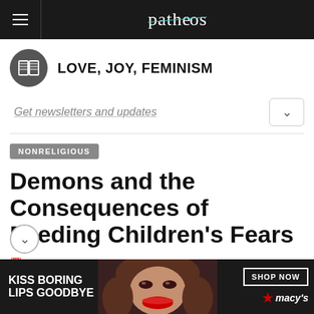patheos
LOVE, JOY, FEMINISM
Get newsletters and updates
NONRELIGIOUS
Demons and the Consequences of Feeding Children's Fears
JANUARY 21, 2016 BY LIBBY ANNE
32 COMMENTS
[Figure (photo): Macy's advertisement banner: woman with red lips. Text: KISS BORING LIPS GOODBYE. SHOP NOW. macy's star logo.]